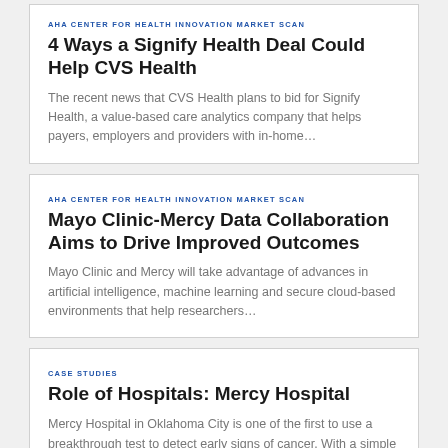AHA CENTER FOR HEALTH INNOVATION MARKET SCAN
4 Ways a Signify Health Deal Could Help CVS Health
The recent news that CVS Health plans to bid for Signify Health, a value-based care analytics company that helps payers, employers and providers with in-home…
AHA CENTER FOR HEALTH INNOVATION MARKET SCAN
Mayo Clinic-Mercy Data Collaboration Aims to Drive Improved Outcomes
Mayo Clinic and Mercy will take advantage of advances in artificial intelligence, machine learning and secure cloud-based environments that help researchers…
CASE STUDIES
Role of Hospitals: Mercy Hospital
Mercy Hospital in Oklahoma City is one of the first to use a breakthrough test to detect early signs of cancer. With a simple blood draw, the test can scan…